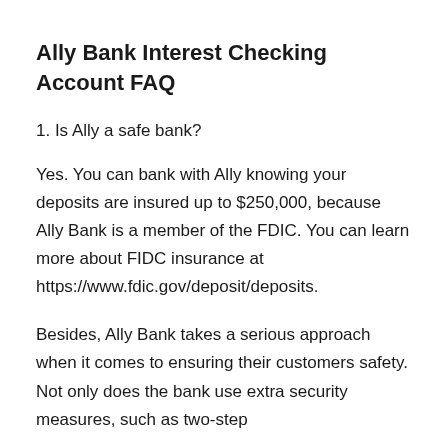Ally Bank Interest Checking Account FAQ
1. Is Ally a safe bank?
Yes. You can bank with Ally knowing your deposits are insured up to $250,000, because Ally Bank is a member of the FDIC. You can learn more about FIDC insurance at https://www.fdic.gov/deposit/deposits.
Besides, Ally Bank takes a serious approach when it comes to ensuring their customers safety. Not only does the bank use extra security measures, such as two-step